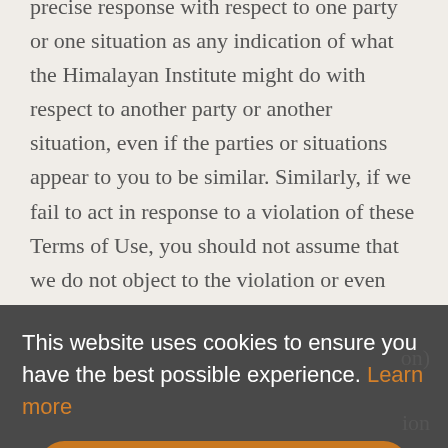precise response with respect to one party or one situation as any indication of what the Himalayan Institute might do with respect to another party or another situation, even if the parties or situations appear to you to be similar. Similarly, if we fail to act in response to a violation of these Terms of Use, you should not assume that we do not object to the violation or even that we are aware of it. In addition, you may not construe a waiver of any provision of these
[Figure (screenshot): Cookie consent banner overlay with dark gray background. Text reads: 'This website uses cookies to ensure you have the best possible experience. Learn more' with 'Learn more' as an orange link. Below is an orange rounded button labeled 'Got it!']
constitute a waiver of such right or remedy. Even